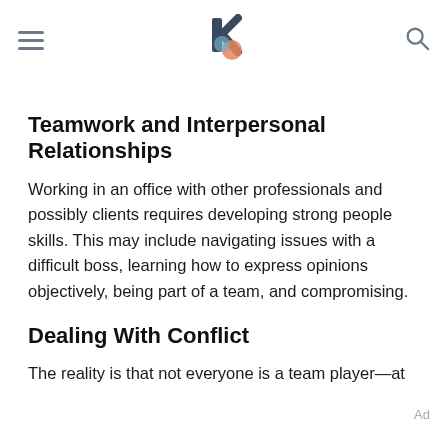[navigation header with hamburger menu, logo, and search icon]
Teamwork and Interpersonal Relationships
Working in an office with other professionals and possibly clients requires developing strong people skills. This may include navigating issues with a difficult boss, learning how to express opinions objectively, being part of a team, and compromising.
Dealing With Conflict
The reality is that not everyone is a team player—at